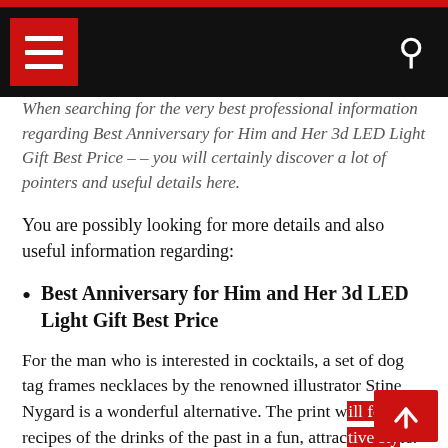[navigation bar with hamburger menu and search icon]
When searching for the very best professional information regarding Best Anniversary for Him and Her 3d LED Light Gift Best Price – – you will certainly discover a lot of pointers and useful details here.
You are possibly looking for more details and also useful information regarding:
Best Anniversary for Him and Her 3d LED Light Gift Best Price
For the man who is interested in cocktails, a set of dog tag frames necklaces by the renowned illustrator Stine Nygard is a wonderful alternative. The print will feature recipes of the drinks of the past in a fun, attractive style. The dog tag is a good idea to present a romantic Valentine's Day gift. Another idea for a present is a